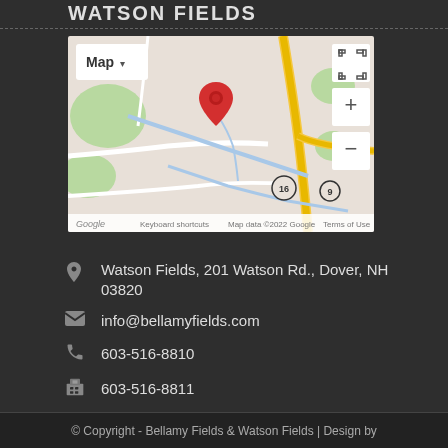WATSON FIELDS
[Figure (map): Google Map showing location of Watson Fields at 201 Watson Rd., Dover, NH with a red pin marker, road 16 and road 9 visible, and Google Maps controls including Map/Satellite toggle, zoom in/out, and fullscreen button. Bottom bar shows: Keyboard shortcuts | Map data ©2022 Google | Terms of Use]
Watson Fields, 201 Watson Rd., Dover, NH 03820
info@bellamyfields.com
603-516-8810
603-516-8811
© Copyright - Bellamy Fields & Watson Fields | Design by